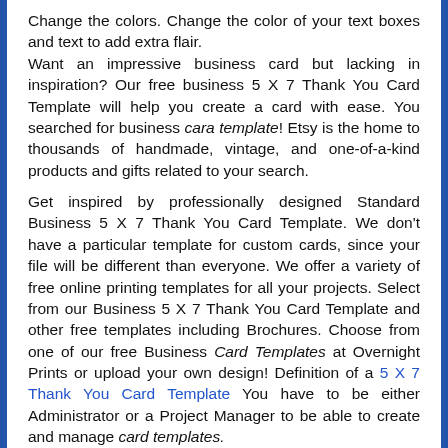Change the colors. Change the color of your text boxes and text to add extra flair. Want an impressive business card but lacking in inspiration? Our free business 5 X 7 Thank You Card Template will help you create a card with ease. You searched for business cara template! Etsy is the home to thousands of handmade, vintage, and one-of-a-kind products and gifts related to your search.
Get inspired by professionally designed Standard Business 5 X 7 Thank You Card Template. We don't have a particular template for custom cards, since your file will be different than everyone. We offer a variety of free online printing templates for all your projects. Select from our Business 5 X 7 Thank You Card Template and other free templates including Brochures. Choose from one of our free Business Card Templates at Overnight Prints or upload your own design! Definition of a 5 X 7 Thank You Card Template You have to be either Administrator or a Project Manager to be able to create and manage card templates.
The section provides support for schools and parents on